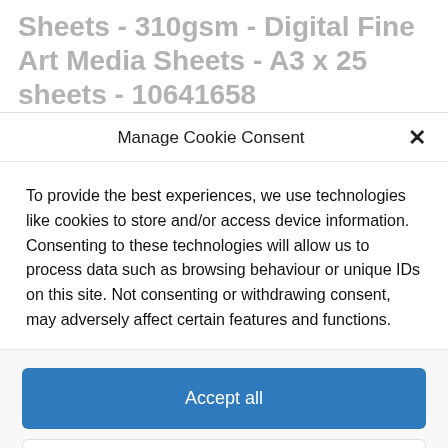Sheets - 310gsm - Digital Fine Art Media Sheets - A3 x 25 sheets - 10641658
Manage Cookie Consent
To provide the best experiences, we use technologies like cookies to store and/or access device information. Consenting to these technologies will allow us to process data such as browsing behaviour or unique IDs on this site. Not consenting or withdrawing consent, may adversely affect certain features and functions.
Accept all
Deny